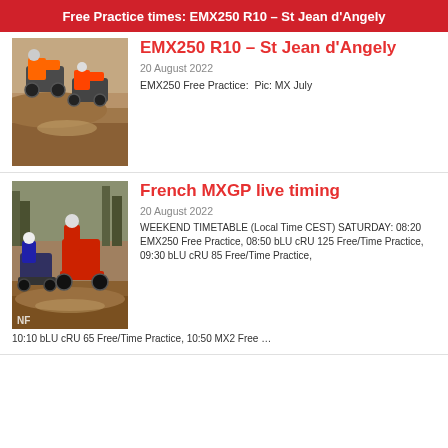Free Practice times: EMX250 R10 – St Jean d'Angely
[Figure (photo): Two motocross riders racing on a dirt track, airborne over a mound]
EMX250 R10 – St Jean d'Angely
20 August 2022
EMX250 Free Practice:  Pic: MX July
[Figure (photo): Two motocross riders racing on a dirt track, one on a red KTM bike in foreground]
French MXGP live timing
20 August 2022
WEEKEND TIMETABLE (Local Time CEST) SATURDAY: 08:20 EMX250 Free Practice, 08:50 bLU cRU 125 Free/Time Practice, 09:30 bLU cRU 85 Free/Time Practice, 10:10 bLU cRU 65 Free/Time Practice, 10:50 MX2 Free …